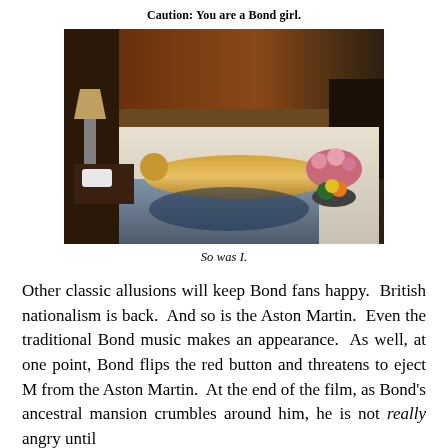Caution: You are a Bond girl.
[Figure (photo): A woman painted gold lying on a bed in a hotel room, evoking the famous Goldfinger scene. There is a lamp and telephone on a nightstand to the left, and a flower arrangement with fruit on the right.]
So was I.
Other classic allusions will keep Bond fans happy. British nationalism is back. And so is the Aston Martin. Even the traditional Bond music makes an appearance. As well, at one point, Bond flips the red button and threatens to eject M from the Aston Martin. At the end of the film, as Bond's ancestral mansion crumbles around him, he is not really angry until